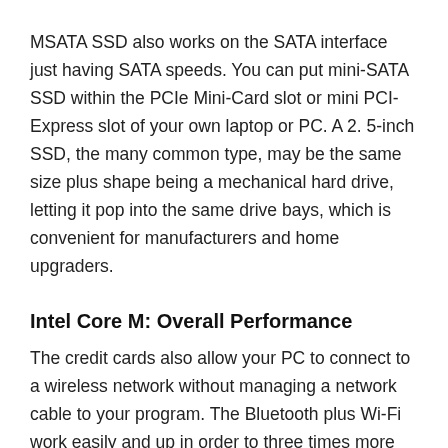MSATA SSD also works on the SATA interface just having SATA speeds. You can put mini-SATA SSD within the PCIe Mini-Card slot or mini PCI-Express slot of your own laptop or PC. A 2. 5-inch SSD, the many common type, may be the same size plus shape being a mechanical hard drive, letting it pop into the same drive bays, which is convenient for manufacturers and home upgraders.
Intel Core M: Overall Performance
The credit cards also allow your PC to connect to a wireless network without managing a network cable to your program. The Bluetooth plus Wi-Fi work easily and up in order to three times more speed on LAN networks. You can replace old Wi-Fic cards or update existing computer systems. Users can experience fewer